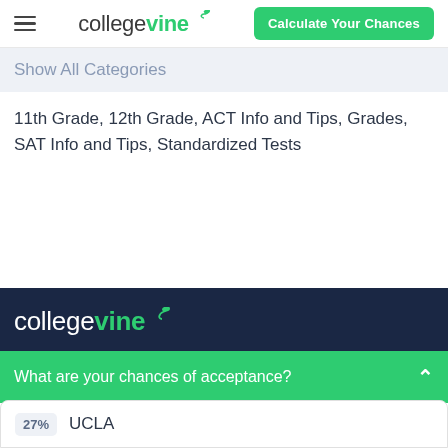collegevine | Calculate Your Chances
Show All Categories
11th Grade, 12th Grade, ACT Info and Tips, Grades, SAT Info and Tips, Standardized Tests
[Figure (logo): CollegeVine logo in white on dark navy footer background]
What are your chances of acceptance?
27% UCLA